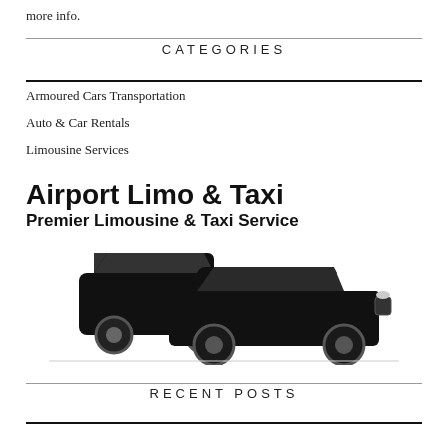more info.
CATEGORIES
Armoured Cars Transportation
Auto & Car Rentals
Limousine Services
[Figure (logo): Airport Limo & Taxi advertisement banner with text 'Airport Limo & Taxi Premier Limousine & Taxi Service' and image of two black vehicles (SUV and sedan)]
RECENT POSTS